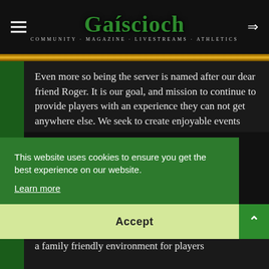Gaiscioch — COMMUNITY · MAGAZINE · LIVESTREAMS · ATHLETICS
Even more so being the server is named after our dear friend Roger. It is our goal, and mission to continue to provide players with an experience they can not get anywhere else. We seek to create enjoyable events which act as a catalyst for friendship and community...
This website uses cookies to ensure you get the best experience on our website. Learn more
Accept
a family friendly environment for players